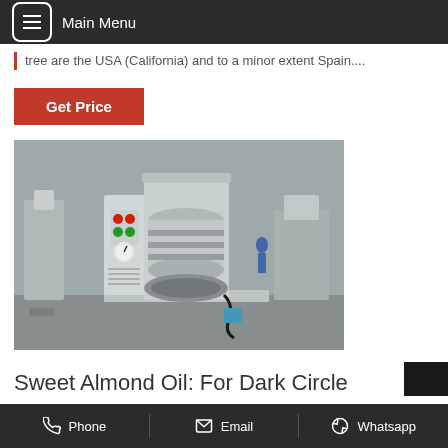Main Menu
tree are the USA (California) and to a minor extent Spain....
Get Price
[Figure (photo): Industrial almond oil press machine in a factory setting. The machine is silver/grey metallic with a central cylindrical pressing chamber, a control panel with red and green buttons and a pressure gauge on the left side. Multiple similar machines are visible in the background.]
Sweet Almond Oil: For Dark Circle
Phone   Email   Whatsapp